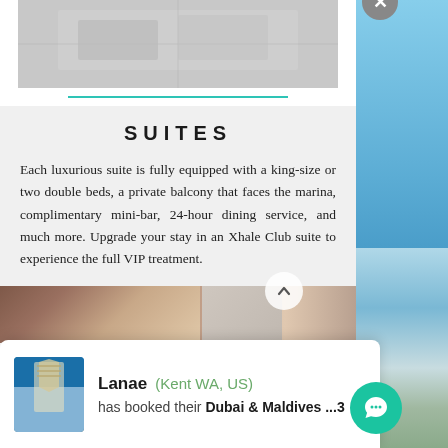[Figure (photo): Top area with a partial aerial/architectural image in light grey tones]
SUITES
Each luxurious suite is fully equipped with a king-size or two double beds, a private balcony that faces the marina, complimentary mini-bar, 24-hour dining service, and much more. Upgrade your stay in an Xhale Club suite to experience the full VIP treatment.
[Figure (photo): Bottom hotel interior/pool image strip]
Lanae (Kent WA, US) has booked their Dubai & Maldives ...3